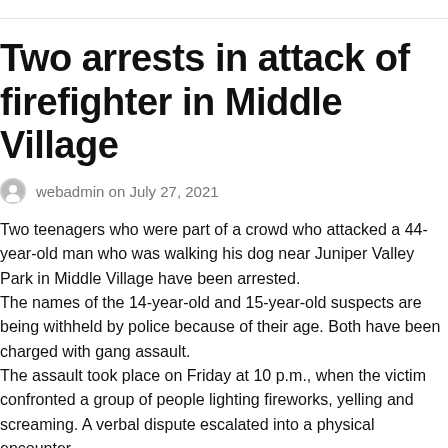Two arrests in attack of firefighter in Middle Village
webadmin on July 27, 2021
Two teenagers who were part of a crowd who attacked a 44-year-old man who was walking his dog near Juniper Valley Park in Middle Village have been arrested. The names of the 14-year-old and 15-year-old suspects are being withheld by police because of their age. Both have been charged with gang assault. The assault took place on Friday at 10 p.m., when the victim confronted a group of people lighting fireworks, yelling and screaming. A verbal dispute escalated into a physical encounter.